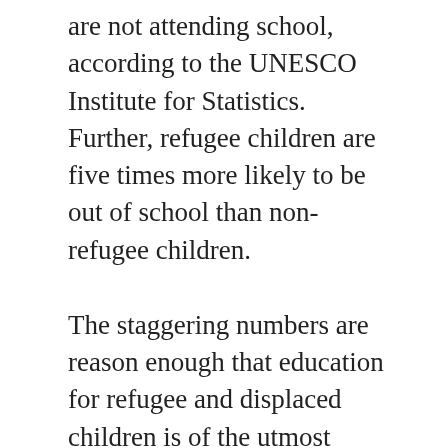are not attending school, according to the UNESCO Institute for Statistics. Further, refugee children are five times more likely to be out of school than non-refugee children.
The staggering numbers are reason enough that education for refugee and displaced children is of the utmost importance and requires our undivided attention.
The report additionally indicated that should conflict, displacement, and economic collapse continue, these children and youth will be deprived of